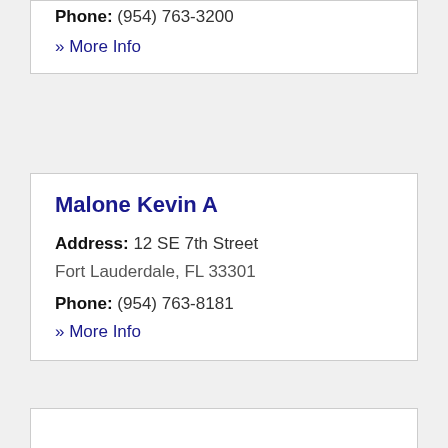Phone: (954) 763-3200
» More Info
Malone Kevin A
Address: 12 SE 7th Street
Fort Lauderdale, FL 33301
Phone: (954) 763-8181
» More Info
Malvin Feinberg
Address: 1 E Broward Blvd Suite 925
Fort Lauderdale, FL 33301
Phone: (954) 628-3939
» More Info